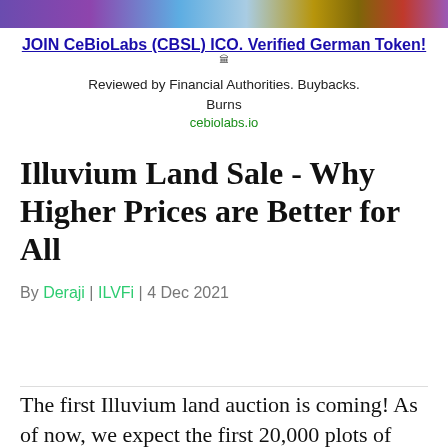[Figure (photo): Colorful banner image with purple, blue, and orange hues at the top of the page]
JOIN CeBioLabs (CBSL) ICO. Verified German Token!
Reviewed by Financial Authorities. Buybacks. Burns
cebiolabs.io
Illuvium Land Sale - Why Higher Prices are Better for All
By Deraji | ILVFi | 4 Dec 2021
$0.14
The first Illuvium land auction is coming! As of now, we expect the first 20,000 plots of Illuvium land to be sold early to mid-January. Recently, a draft proposal